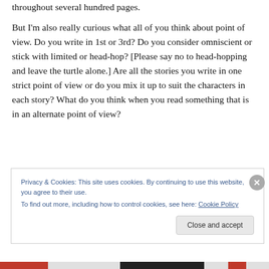throughout several hundred pages.
But I'm also really curious what all of you think about point of view. Do you write in 1st or 3rd? Do you consider omniscient or stick with limited or head-hop? [Please say no to head-hopping and leave the turtle alone.] Are all the stories you write in one strict point of view or do you mix it up to suit the characters in each story? What do you think when you read something that is in an alternate point of view?
Privacy & Cookies: This site uses cookies. By continuing to use this website, you agree to their use.
To find out more, including how to control cookies, see here: Cookie Policy